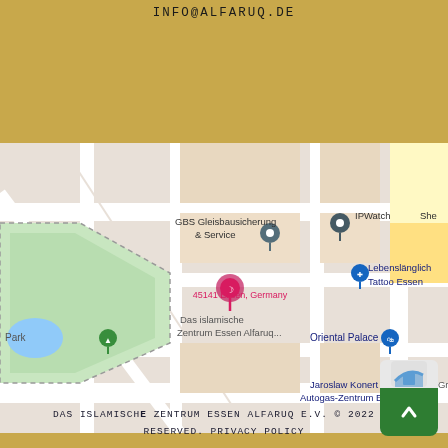INFO@ALFARUQ.DE
[Figure (map): Google Maps view showing Das islamische Zentrum Essen Alfaruq location at 45141 Essen, Germany, with nearby landmarks: GBS Gleisbausicherung & Service, IPWatch, Lebenslänglich Tattoo Essen, Oriental Palace, Jaroslaw Konert Autogas-Zentrum Essen, Open Grid, Park]
DAS ISLAMISCHE ZENTRUM ESSEN ALFARUQ E.V. © 2022 ALL RIGHTS RESERVED. PRIVACY POLICY